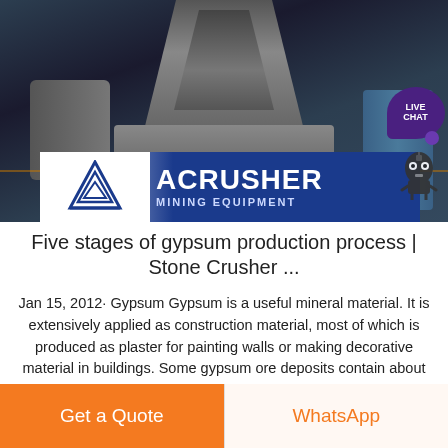[Figure (photo): Industrial mining/crushing machinery in a factory setting, with large cone-shaped equipment and motors visible. An ACRUSHER Mining Equipment banner overlay is visible at the bottom of the photo.]
Five stages of gypsum production process | Stone Crusher ...
Jan 15, 2012· Gypsum Gypsum is a useful mineral material. It is extensively applied as construction material, most of which is produced as plaster for painting walls or making decorative material in buildings. Some gypsum ore deposits contain about 80% gypsum, which is excellent for producing...